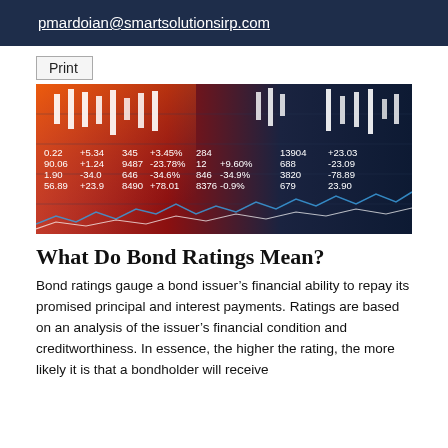pmardoian@smartsolutionsirp.com
Print
[Figure (photo): Stock market ticker board with candlestick chart overlay showing various financial data numbers and percentages in red and white on a dark background with a blue line chart in the foreground.]
What Do Bond Ratings Mean?
Bond ratings gauge a bond issuer’s financial ability to repay its promised principal and interest payments. Ratings are based on an analysis of the issuer’s financial condition and creditworthiness. In essence, the higher the rating, the more likely it is that a bondholder will receive